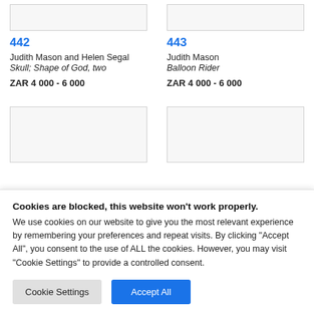[Figure (photo): Partial artwork image at top, lot 442]
[Figure (photo): Partial artwork image at top, lot 443]
442
443
Judith Mason and Helen Segal
Judith Mason
Skull; Shape of God, two
Balloon Rider
ZAR 4 000 - 6 000
ZAR 4 000 - 6 000
[Figure (photo): Partial artwork image at bottom, lot left]
[Figure (photo): Partial artwork image at bottom, lot right]
Cookies are blocked, this website won't work properly. We use cookies on our website to give you the most relevant experience by remembering your preferences and repeat visits. By clicking "Accept All", you consent to the use of ALL the cookies. However, you may visit "Cookie Settings" to provide a controlled consent.
Cookie Settings
Accept All